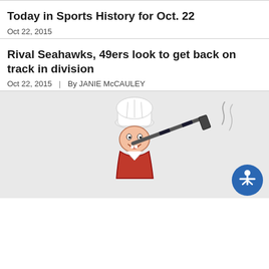Today in Sports History for Oct. 22
Oct 22, 2015
Rival Seahawks, 49ers look to get back on track in division
Oct 22, 2015  |  By JANIE McCAULEY
[Figure (illustration): Cartoon chef mascot holding a hockey stick, wearing a white chef hat and red outfit, on a light gray background. A blue accessibility icon button is overlaid in the bottom right corner.]